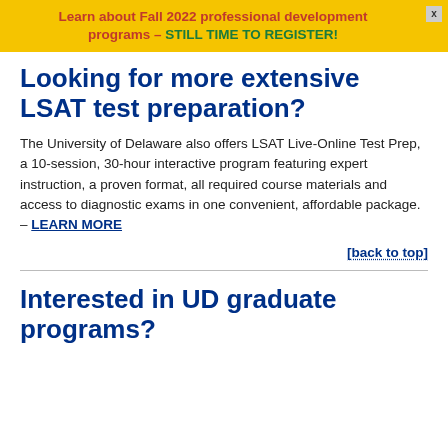Learn about Fall 2022 professional development programs – STILL TIME TO REGISTER!
Looking for more extensive LSAT test preparation?
The University of Delaware also offers LSAT Live-Online Test Prep, a 10-session, 30-hour interactive program featuring expert instruction, a proven format, all required course materials and access to diagnostic exams in one convenient, affordable package. – LEARN MORE
[back to top]
Interested in UD graduate programs?